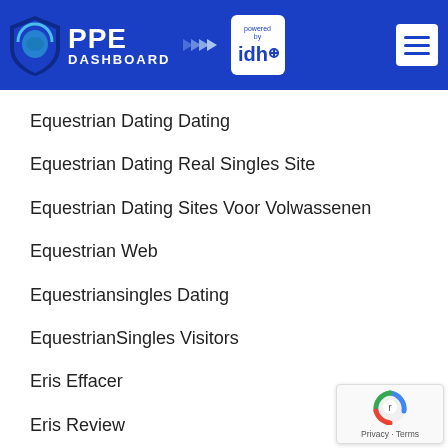[Figure (logo): PPE Dashboard logo with shield icon, arrows, and 'powered by idh' badge on blue header background, with hamburger menu icon on right]
Equestrian Dating Dating
Equestrian Dating Real Singles Site
Equestrian Dating Sites Voor Volwassenen
Equestrian Web
Equestriansingles Dating
EquestrianSingles Visitors
Eris Effacer
Eris Review
[Figure (logo): Google reCAPTCHA badge with robot icon and Privacy · Terms text]